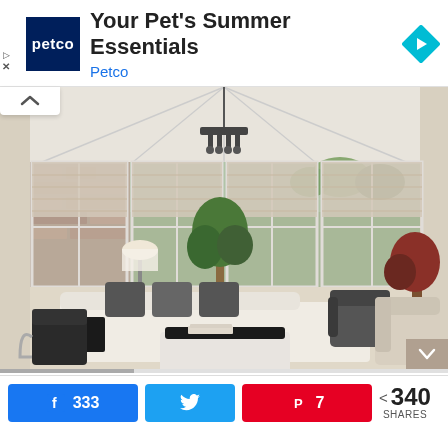[Figure (other): Petco advertisement banner with logo, title 'Your Pet's Summer Essentials', advertiser name 'Petco', and a blue navigation arrow icon]
[Figure (photo): Bright conservatory/sunroom interior with white sofa with dark cushions, armchairs, ottoman, a chandelier, sheer roman blinds on large windows, indoor trees and plants, elegant decor]
333
7
340 SHARES